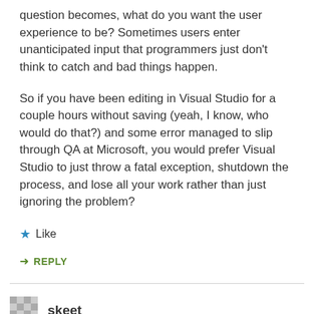question becomes, what do you want the user experience to be? Sometimes users enter unanticipated input that programmers just don't think to catch and bad things happen.
So if you have been editing in Visual Studio for a couple hours without saving (yeah, I know, who would do that?) and some error managed to slip through QA at Microsoft, you would prefer Visual Studio to just throw a fatal exception, shutdown the process, and lose all your work rather than just ignoring the problem?
★ Like
↳ REPLY
skeet